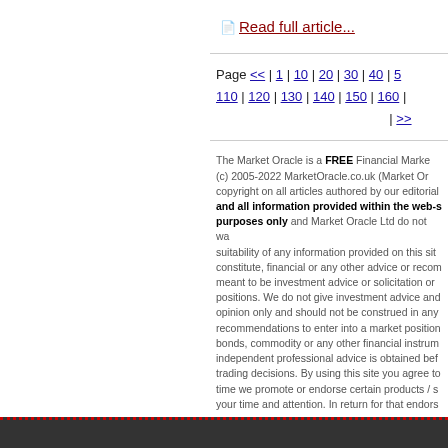📄 Read full article...
Page << | 1 | 10 | 20 | 30 | 40 | 5... 110 | 120 | 130 | 140 | 150 | 160 | ... | >>
The Market Oracle is a FREE Financial Market... (c) 2005-2022 MarketOracle.co.uk (Market Ora... copyright on all articles authored by our editorial and all information provided within the web-s purposes only and Market Oracle Ltd do not wa... suitability of any information provided on this site constitute, financial or any other advice or recom meant to be investment advice or solicitation or positions. We do not give investment advice and opinion only and should not be construed in any recommendations to enter into a market position bonds, commodity or any other financial instrum independent professional advice is obtained bef trading decisions. By using this site you agree to time we promote or endorse certain products / s your time and attention. In return for that endors you purchase directly though us may we be com products.
Terms of Use | Pri...